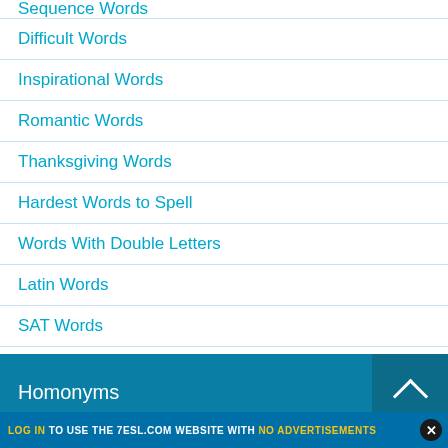Sequence Words
Difficult Words
Inspirational Words
Romantic Words
Thanksgiving Words
Hardest Words to Spell
Words With Double Letters
Latin Words
SAT Words
Q Words without U
Homonyms
LOG IN TO USE THE 7ESL.COM WEBSITE WITH NO ADVERTISEMENTS